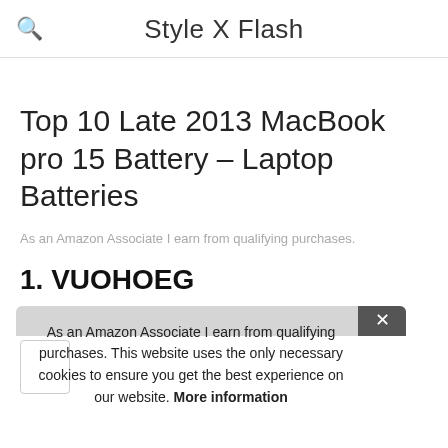Style X Flash
Top 10 Late 2013 MacBook pro 15 Battery – Laptop Batteries
As an Amazon Associate I earn from qualifying purchases.
1. VUOHOEG
As an Amazon Associate I earn from qualifying purchases. This website uses the only necessary cookies to ensure you get the best experience on our website. More information